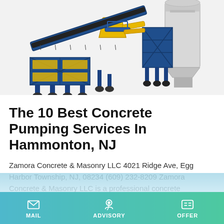[Figure (photo): A blue and yellow concrete batching plant / pumping machine with conveyor belt and silos on a white background.]
The 10 Best Concrete Pumping Services In Hammonton, NJ
Zamora Concrete & Masonry LLC 4021 Ridge Ave, Egg Harbor Township, NJ, 08234 (609) 232-8209 Zamora Concrete & Masonry LLC is a professional concrete contractor located in Atlantic City, NJ. If you need reliable concrete service don't hesitate to call us!
Learn More
MAIL   ADVISORY   OFFER